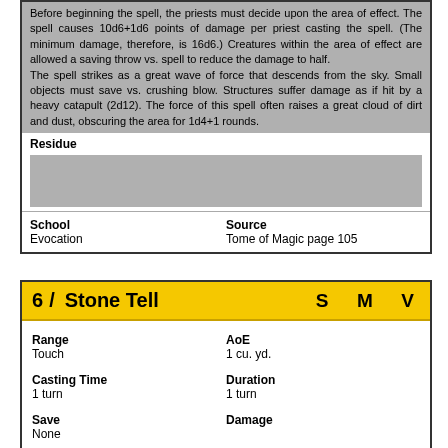Before beginning the spell, the priests must decide upon the area of effect. The spell causes 10d6+1d6 points of damage per priest casting the spell. (The minimum damage, therefore, is 16d6.) Creatures within the area of effect are allowed a saving throw vs. spell to reduce the damage to half.
The spell strikes as a great wave of force that descends from the sky. Small objects must save vs. crushing blow. Structures suffer damage as if hit by a heavy catapult (2d12). The force of this spell often raises a great cloud of dirt and dust, obscuring the area for 1d4+1 rounds.
Residue
[Figure (other): Gray placeholder box for Residue content]
School
Evocation
Source
Tome of Magic page 105
6  Stone Tell   S M V
Range
Touch
AoE
1 cu. yd.
Casting Time
1 turn
Duration
1 turn
Save
None
Damage
Materials
When the priest casts a stone tell spell upon an area, the very stones speak and relate to the caster who or what has touched them as well as revealing what is covered, concealed, or simply